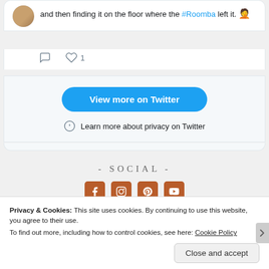and then finding it on the floor where the #Roomba left it. 🤦
[Figure (other): Tweet action icons: comment and heart with count 1]
[Figure (other): View more on Twitter button (blue pill-shaped button)]
Learn more about privacy on Twitter
- SOCIAL -
[Figure (other): Social media icons: Facebook, Instagram, Pinterest, YouTube in brown/orange square icons]
Privacy & Cookies: This site uses cookies. By continuing to use this website, you agree to their use. To find out more, including how to control cookies, see here: Cookie Policy
Close and accept